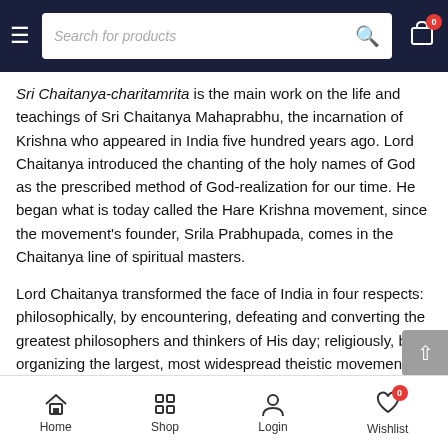Search for products
Sri Chaitanya-charitamrita is the main work on the life and teachings of Sri Chaitanya Mahaprabhu, the incarnation of Krishna who appeared in India five hundred years ago. Lord Chaitanya introduced the chanting of the holy names of God as the prescribed method of God-realization for our time. He began what is today called the Hare Krishna movement, since the movement's founder, Srila Prabhupada, comes in the Chaitanya line of spiritual masters.
Lord Chaitanya transformed the face of India in four respects: philosophically, by encountering, defeating and converting the greatest philosophers and thinkers of His day; religiously, by organizing the largest, most widespread theistic movement in
Home  Shop  Login  Wishlist